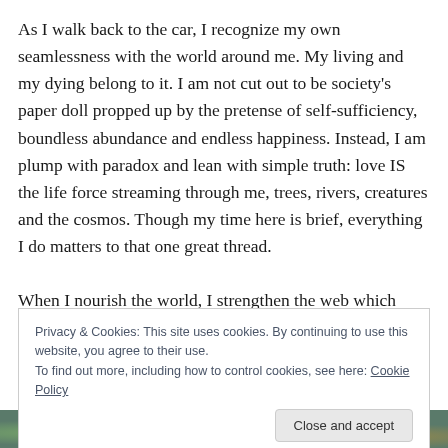As I walk back to the car, I recognize my own seamlessness with the world around me. My living and my dying belong to it. I am not cut out to be society's paper doll propped up by the pretense of self-sufficiency, boundless abundance and endless happiness. Instead, I am plump with paradox and lean with simple truth: love IS the life force streaming through me, trees, rivers, creatures and the cosmos. Though my time here is brief, everything I do matters to that one great thread.

When I nourish the world, I strengthen the web which
Privacy & Cookies: This site uses cookies. By continuing to use this website, you agree to their use.
To find out more, including how to control cookies, see here: Cookie Policy
[Figure (photo): Partial view of a colorful photo or illustration at the bottom of the page, showing greens, blues, and warm tones.]